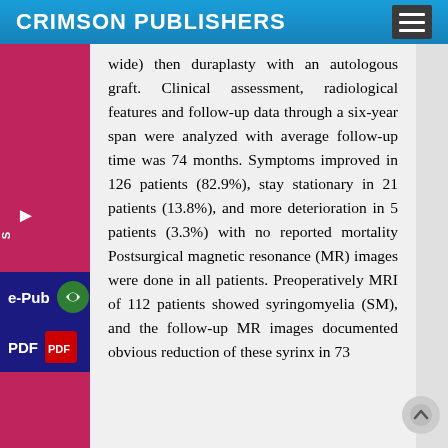CRIMSON PUBLISHERS
wide) then duraplasty with an autologous graft. Clinical assessment, radiological features and follow-up data through a six-year span were analyzed with average follow-up time was 74 months. Symptoms improved in 126 patients (82.9%), stay stationary in 21 patients (13.8%), and more deterioration in 5 patients (3.3%) with no reported mortality Postsurgical magnetic resonance (MR) images were done in all patients. Preoperatively MRI of 112 patients showed syringomyelia (SM), and the follow-up MR images documented obvious reduction of these syrinx in 73